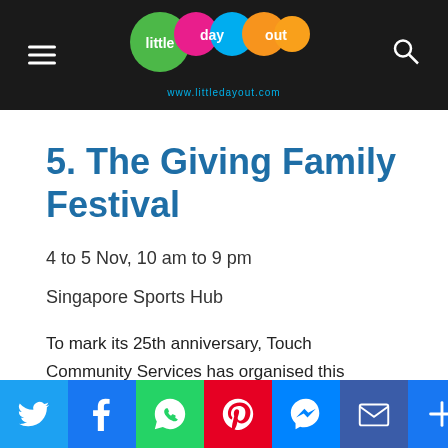Little Day Out — www.littledayout.com
5. The Giving Family Festival
4 to 5 Nov, 10 am to 9 pm
Singapore Sports Hub
To mark its 25th anniversary, Touch Community Services has organised this celebration carnival which aims to develop family bonds while giving back to society. Proceeds and donations will go towards improving the lives of Touch's 30,000 beneficiaries. More inf...
[Figure (infographic): Social share bar with Twitter, Facebook, WhatsApp, Pinterest, Messenger, Email, and More buttons]